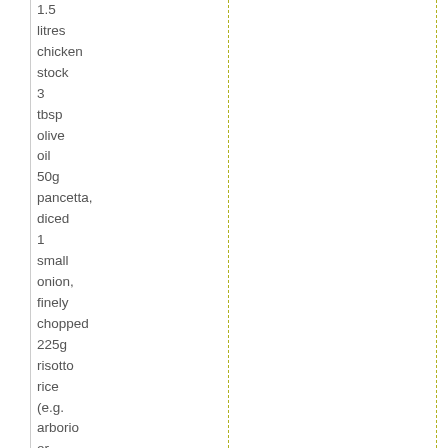1.5 litres chicken stock 3 tbsp olive oil 50g pancetta, diced 1 small onion, finely chopped 225g risotto rice (e.g. arborio or